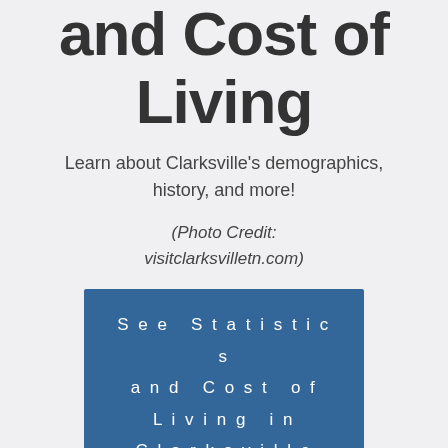and Cost of Living
Learn about Clarksville's demographics, history, and more!
(Photo Credit: visitclarksvilletn.com)
See Statistics and Cost of Living in Clarksville